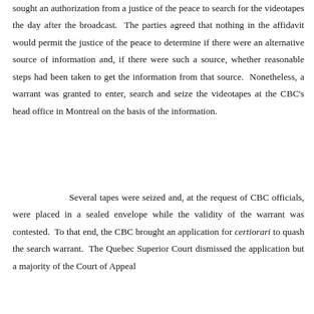sought an authorization from a justice of the peace to search for the videotapes the day after the broadcast. The parties agreed that nothing in the affidavit would permit the justice of the peace to determine if there were an alternative source of information and, if there were such a source, whether reasonable steps had been taken to get the information from that source. Nonetheless, a warrant was granted to enter, search and seize the videotapes at the CBC's head office in Montreal on the basis of the information.
Several tapes were seized and, at the request of CBC officials, were placed in a sealed envelope while the validity of the warrant was contested. To that end, the CBC brought an application for certiorari to quash the search warrant. The Quebec Superior Court dismissed the application but a majority of the Court of Appeal